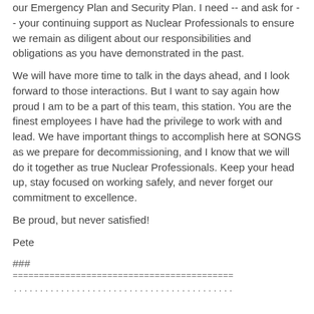our Emergency Plan and Security Plan. I need -- and ask for -- your continuing support as Nuclear Professionals to ensure we remain as diligent about our responsibilities and obligations as you have demonstrated in the past.
We will have more time to talk in the days ahead, and I look forward to those interactions. But I want to say again how proud I am to be a part of this team, this station. You are the finest employees I have had the privilege to work with and lead. We have important things to accomplish here at SONGS as we prepare for decommissioning, and I know that we will do it together as true Nuclear Professionals. Keep your head up, stay focused on working safely, and never forget our commitment to excellence.
Be proud, but never satisfied!
Pete
###
==========================================
..........................................